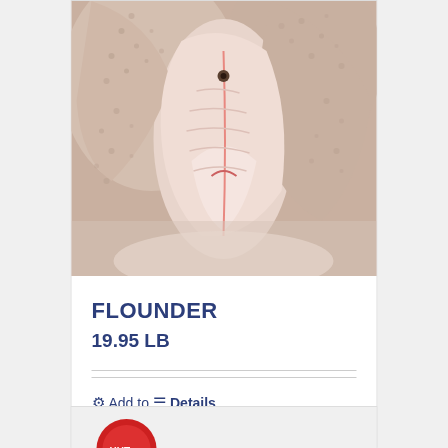[Figure (photo): Close-up photo of raw flounder fish fillets, showing white/pink flesh, arranged on a surface. The fish skin and flesh details are clearly visible.]
FLOUNDER
19.95 LB
⚙ Add to ≡ Details order
[Figure (photo): Partial view of a second product card at the bottom of the page, showing a red logo/label partially visible.]